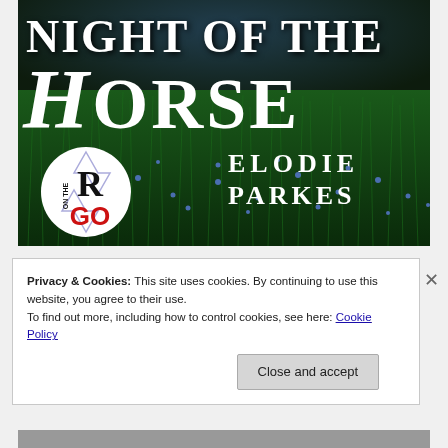[Figure (illustration): Book cover for 'Night of the Horse' by Elodie Parkes, published by Romance On The Go. Dark green field with blue wildflowers background. Large white serif text reads NIGHT OF THE HORSE with script H. Publisher logo circle (RO On The Go) in lower left. Author name ELODIE PARKES in white serif text lower right.]
Privacy & Cookies: This site uses cookies. By continuing to use this website, you agree to their use.
To find out more, including how to control cookies, see here: Cookie Policy
Close and accept